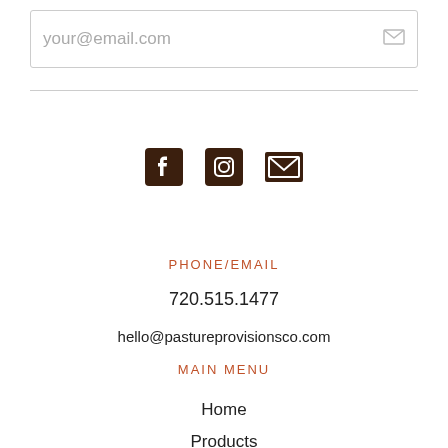your@email.com
[Figure (infographic): Social media icons: Facebook, Instagram, Email (envelope)]
PHONE/EMAIL
720.515.1477
hello@pastureprovisionsco.com
MAIN MENU
Home
Products